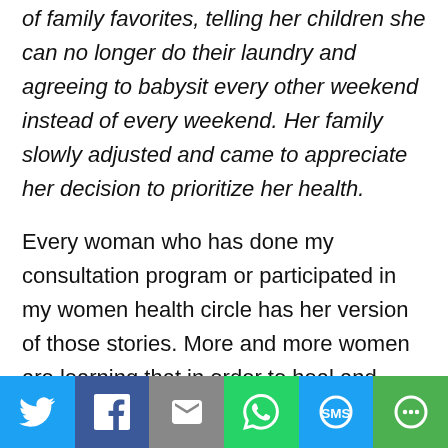of family favorites, telling her children she can no longer do their laundry and agreeing to babysit every other weekend instead of every weekend. Her family slowly adjusted and came to appreciate her decision to prioritize her health.
Every woman who has done my consultation program or participated in my women health circle has her version of those stories. More and more women are learning that in order to heal and thrive we need to prioritize ourselves and we cannot do it while keeping silent. We need to voice our
[Figure (infographic): Social media share bar with six buttons: Twitter (blue), Facebook (dark blue), Email (gray), WhatsApp (green), SMS (blue), and More/Other (green)]